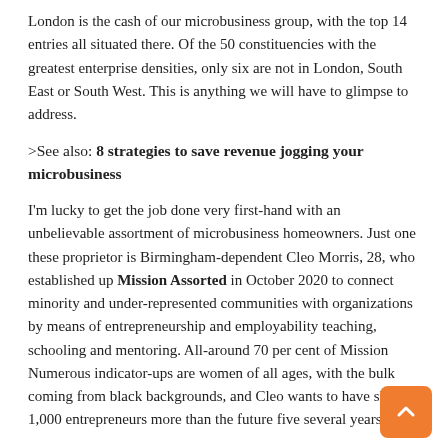London is the cash of our microbusiness group, with the top 14 entries all situated there. Of the 50 constituencies with the greatest enterprise densities, only six are not in London, South East or South West. This is anything we will have to glimpse to address.
>See also: 8 strategies to save revenue jogging your microbusiness
I'm lucky to get the job done very first-hand with an unbelievable assortment of microbusiness homeowners. Just one these proprietor is Birmingham-dependent Cleo Morris, 28, who established up Mission Assorted in October 2020 to connect minority and under-represented communities with organizations by means of entrepreneurship and employability teaching, schooling and mentoring. All-around 70 per cent of Mission Numerous indicator-ups are women of all ages, with the bulk coming from black backgrounds, and Cleo wants to have skilled 1,000 entrepreneurs more than the future five several years.
Cleo's get the job done is evidence that the UK's enterprising spirit is not confined to London and the South. In the course of the region